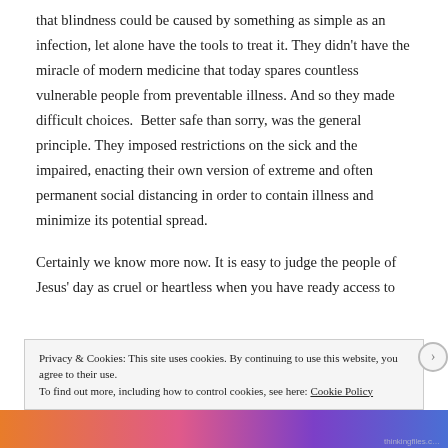that blindness could be caused by something as simple as an infection, let alone have the tools to treat it. They didn't have the miracle of modern medicine that today spares countless vulnerable people from preventable illness. And so they made difficult choices.  Better safe than sorry, was the general principle. They imposed restrictions on the sick and the impaired, enacting their own version of extreme and often permanent social distancing in order to contain illness and minimize its potential spread.
Certainly we know more now. It is easy to judge the people of Jesus' day as cruel or heartless when you have ready access to
Privacy & Cookies: This site uses cookies. By continuing to use this website, you agree to their use.
To find out more, including how to control cookies, see here: Cookie Policy
Close and accept